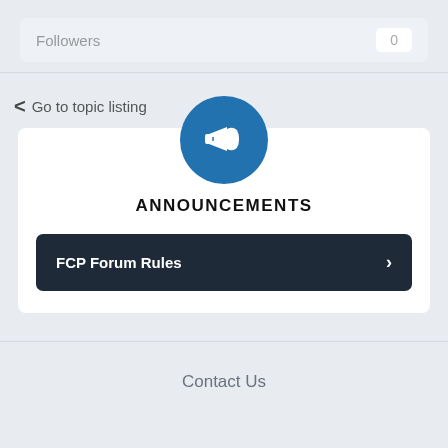Followers  0
< Go to topic listing
[Figure (illustration): Blue circle icon with white megaphone/announcement horn symbol]
ANNOUNCEMENTS
FCP Forum Rules  >
Contact Us